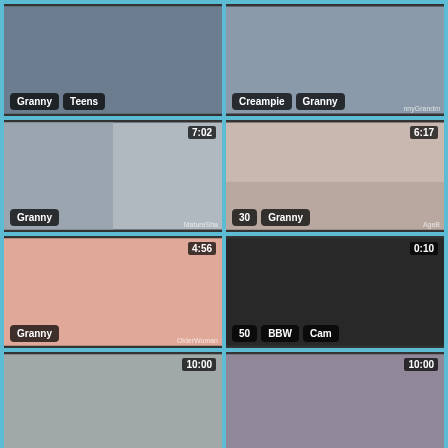[Figure (screenshot): Video thumbnail grid - adult video site with 8 thumbnail cells showing tags and durations. Row 1: Granny/Teens tag, Creampie/Granny tag. Row 2: 7:02 Granny, 6:17 30/Granny. Row 3: 4:56 Granny, 0:10 50/BBW/Cam. Row 4: 10:00, 10:00.]